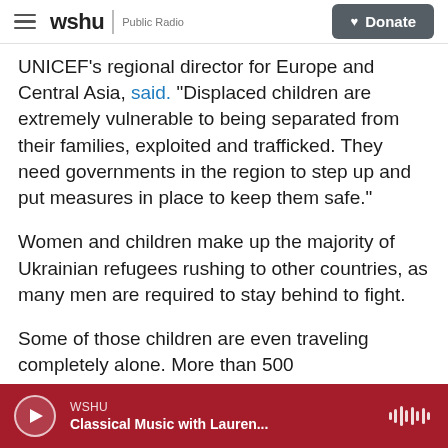wshu Public Radio | Donate
UNICEF's regional director for Europe and Central Asia, said. "Displaced children are extremely vulnerable to being separated from their families, exploited and trafficked. They need governments in the region to step up and put measures in place to keep them safe."
Women and children make up the majority of Ukrainian refugees rushing to other countries, as many men are required to stay behind to fight.
Some of those children are even traveling completely alone. More than 500 unaccompanied
WSHU | Classical Music with Lauren...